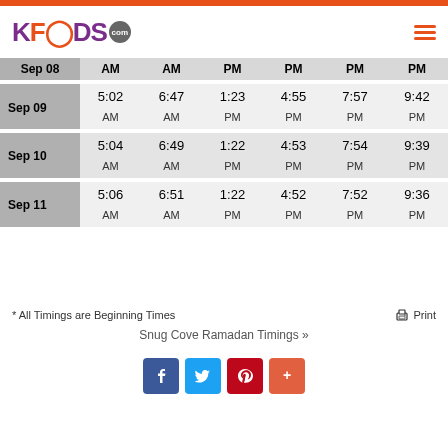KFOODS.com
|  | AM | AM | PM | PM | PM | PM |
| --- | --- | --- | --- | --- | --- | --- |
| Sep 08 | AM | AM | PM | PM | PM | PM |
| Sep 09 | 5:02 AM | 6:47 AM | 1:23 PM | 4:55 PM | 7:57 PM | 9:42 PM |
| Sep 10 | 5:04 AM | 6:49 AM | 1:22 PM | 4:53 PM | 7:54 PM | 9:39 PM |
| Sep 11 | 5:06 AM | 6:51 AM | 1:22 PM | 4:52 PM | 7:52 PM | 9:36 PM |
* All Timings are Beginning Times
Snug Cove Ramadan Timings »
[Figure (other): Social share buttons: Facebook, Twitter, Pinterest, More]